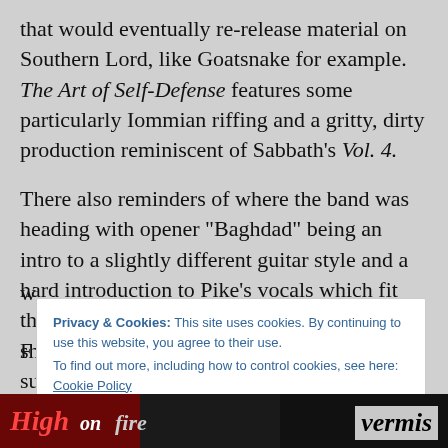that would eventually re-release material on Southern Lord, like Goatsnake for example. The Art of Self-Defense features some particularly Iommian riffing and a gritty, dirty production reminiscent of Sabbath's Vol. 4.
There also reminders of where the band was heading with opener “Baghdad” being an intro to a slightly different guitar style and a hard introduction to Pike’s vocals which fit this style of music quite well; as if they were shouted through the annals of some kind of subterranean bar. This
w
F
Privacy & Cookies: This site uses cookies. By continuing to use this website, you agree to their use.
To find out more, including how to control cookies, see here: Cookie Policy
Close and accept
[Figure (screenshot): Bottom strip showing partial magazine cover image on left and 'vermis' italic bold logo text on right, dark background]